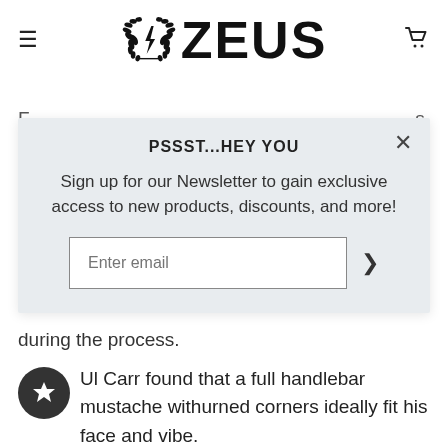[Figure (logo): Zeus brand logo with laurel wreath emblem and bold ZEUS text]
F
s.
[Figure (screenshot): Newsletter signup modal popup with title PSSST...HEY YOU, body text about signing up for newsletter, and email input field with arrow button]
during the process.
Ul Carr found that a full handlebar mustache with turned corners ideally fit his face and vibe.
The